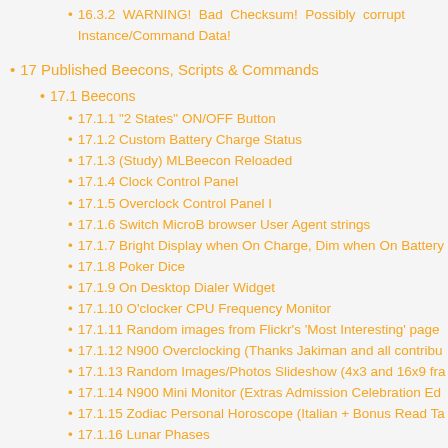16.3.2  WARNING!  Bad  Checksum!  Possibly  corrupt Instance/Command Data!
17 Published Beecons, Scripts & Commands
17.1 Beecons
17.1.1 "2 States" ON/OFF Button
17.1.2 Custom Battery Charge Status
17.1.3 (Study) MLBeecon Reloaded
17.1.4 Clock Control Panel
17.1.5 Overclock Control Panel I
17.1.6 Switch MicroB browser User Agent strings
17.1.7 Bright Display when On Charge, Dim when On Battery
17.1.8 Poker Dice
17.1.9 On Desktop Dialer Widget
17.1.10 O'clocker CPU Frequency Monitor
17.1.11 Random images from Flickr's 'Most Interesting' page
17.1.12 N900 Overclocking (Thanks Jakiman and all contribu...
17.1.13 Random Images/Photos Slideshow (4x3 and 16x9 fra...
17.1.14 N900 Mini Monitor (Extras Admission Celebration Ed...
17.1.15 Zodiac Personal Horoscope (Italian + Bonus Read Ta...
17.1.16 Lunar Phases
17.1.17 Ebay Item Watcher